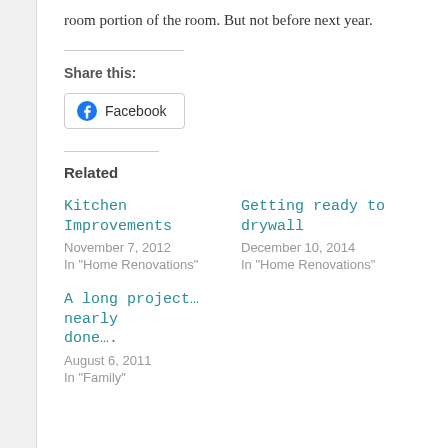room portion of the room. But not before next year.
Share this:
Facebook
Related
Kitchen Improvements
November 7, 2012
In "Home Renovations"
Getting ready to drywall
December 10, 2014
In "Home Renovations"
A long project… nearly done….
August 6, 2011
In "Family"